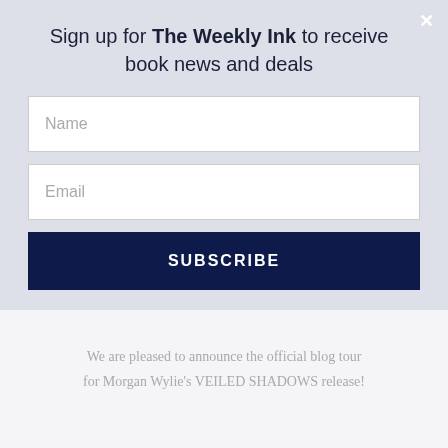Sign up for The Weekly Ink to receive book news and deals
Name
Email
SUBSCRIBE
We are pleased to announce the official blog tour for Morgan Wylie's VEILED SHADOWS release!